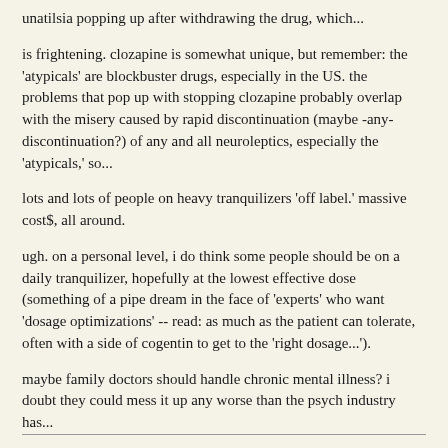unatilsia popping up after withdrawing the drug, which...
is frightening. clozapine is somewhat unique, but remember: the 'atypicals' are blockbuster drugs, especially in the US. the problems that pop up with stopping clozapine probably overlap with the misery caused by rapid discontinuation (maybe -any- discontinuation?) of any and all neuroleptics, especially the 'atypicals,' so...
lots and lots of people on heavy tranquilizers 'off label.' massive cost$, all around.
ugh. on a personal level, i do think some people should be on a daily tranquilizer, hopefully at the lowest effective dose (something of a pipe dream in the face of 'experts' who want 'dosage optimizations' -- read: as much as the patient can tolerate, often with a side of cogentin to get to the 'right dosage...').
maybe family doctors should handle chronic mental illness? i doubt they could mess it up any worse than the psych industry has...